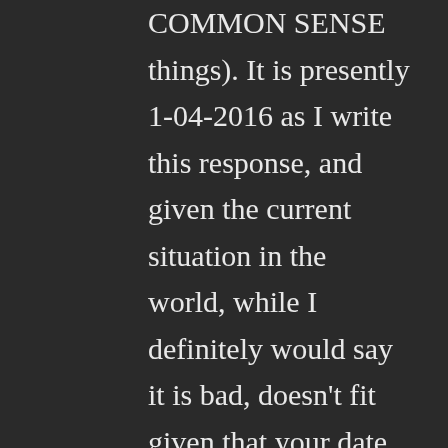COMMON SENSE things). It is presently 1-04-2016 as I write this response, and given the current situation in the world, while I definitely would say it is bad, doesn't fit given that your date would place us 5 years into the tribulation. I completely understand that everyone is entitled to their own opinion and that not a single one of us is going to be right 100% of the time.